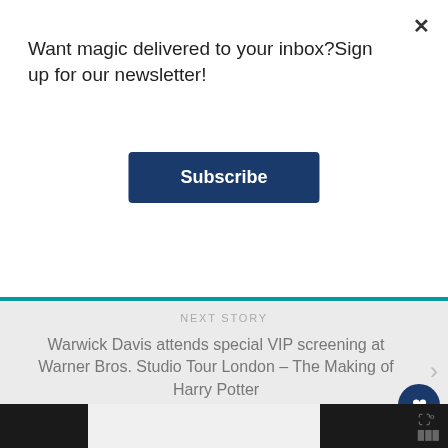Want magic delivered to your inbox?Sign up for our newsletter!
Subscribe
NEXT STORY
Warwick Davis attends special VIP screening at Warner Bros. Studio Tour London – The Making of Harry Potter
PREVIOUS STORY
WOULD YOU RATHER... be Sorted into Gryffindor or Hufflepuff?